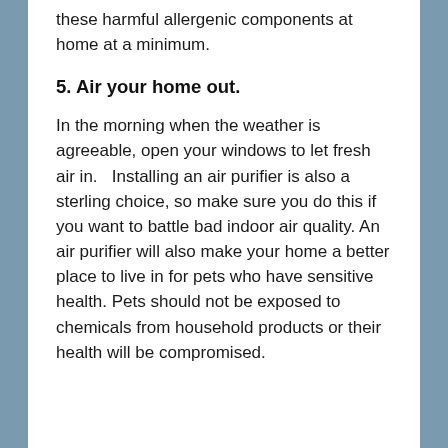these harmful allergenic components at home at a minimum.
5. Air your home out.
In the morning when the weather is agreeable, open your windows to let fresh air in.   Installing an air purifier is also a sterling choice, so make sure you do this if you want to battle bad indoor air quality. An air purifier will also make your home a better place to live in for pets who have sensitive health. Pets should not be exposed to chemicals from household products or their health will be compromised.